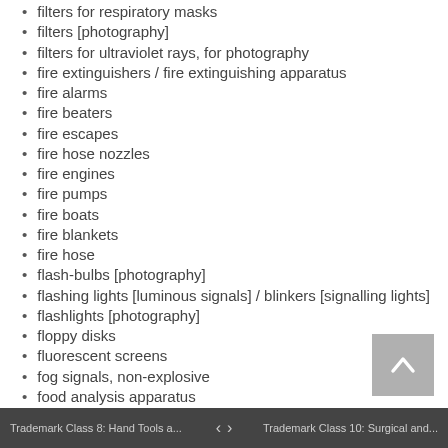filters for respiratory masks
filters [photography]
filters for ultraviolet rays, for photography
fire extinguishers / fire extinguishing apparatus
fire alarms
fire beaters
fire escapes
fire hose nozzles
fire engines
fire pumps
fire boats
fire blankets
fire hose
flash-bulbs [photography]
flashing lights [luminous signals] / blinkers [signalling lights]
flashlights [photography]
floppy disks
fluorescent screens
fog signals, non-explosive
food analysis apparatus
frames for photographic transparencies
frequency meters
furnaces for laboratory use / ovens for laboratory use
Trademark Class 8: Hand Tools a...  <  >  Trademark Class 10: Surgical and...